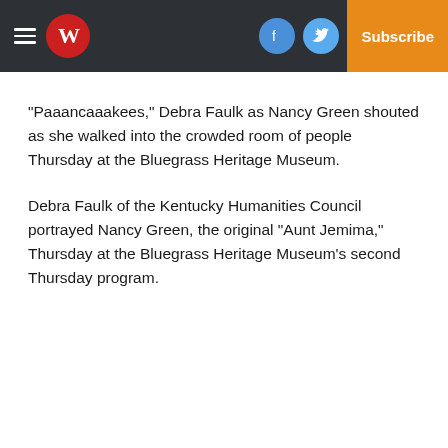Navigation bar with hamburger menu, W logo, Facebook, Twitter, Email icons, Log In, Subscribe
“Paaancaaakees,” Debra Faulk as Nancy Green shouted as she walked into the crowded room of people Thursday at the Bluegrass Heritage Museum.
Debra Faulk of the Kentucky Humanities Council portrayed Nancy Green, the original “Aunt Jemima,” Thursday at the Bluegrass Heritage Museum’s second Thursday program.